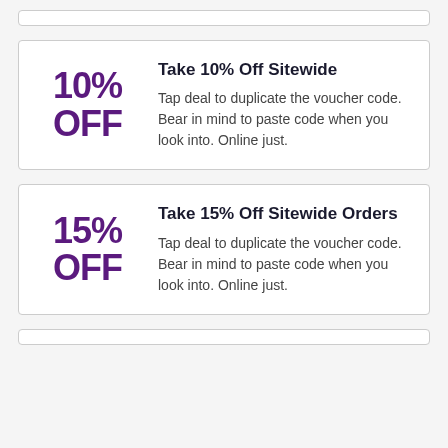Take 10% Off Sitewide
Tap deal to duplicate the voucher code. Bear in mind to paste code when you look into. Online just.
Take 15% Off Sitewide Orders
Tap deal to duplicate the voucher code. Bear in mind to paste code when you look into. Online just.